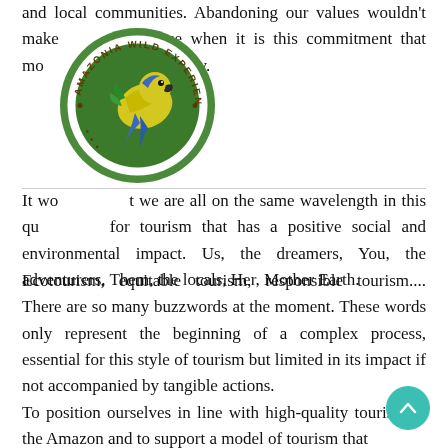and local communities. Abandoning our values wouldn't make sense when it is this commitment that motivates us each and every day.
[Figure (logo): Amazonia Wild Experience circular logo with a macaw parrot on a green background with text around the border]
It would seem that we are all on the same wavelength in this quest for tourism that has a positive social and environmental impact. Us, the dreamers, You, the adventurers, Them, the locals, Her, Mother Earth.
Ecotourism, equitable tourism, responsible tourism.... There are so many buzzwords at the moment. These words only represent the beginning of a complex process, essential for this style of tourism but limited in its impact if not accompanied by tangible actions.
To position ourselves in line with high-quality tourism in the Amazon and to support a model of tourism that